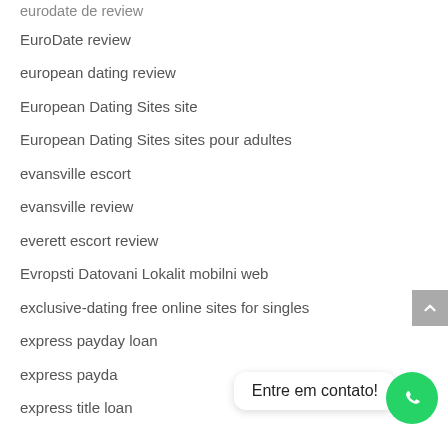eurodate de review
EuroDate review
european dating review
European Dating Sites site
European Dating Sites sites pour adultes
evansville escort
evansville review
everett escort review
Evropsti Datovani Lokalit mobilni web
exclusive-dating free online sites for singles
express payday loan
express payda
express title loan